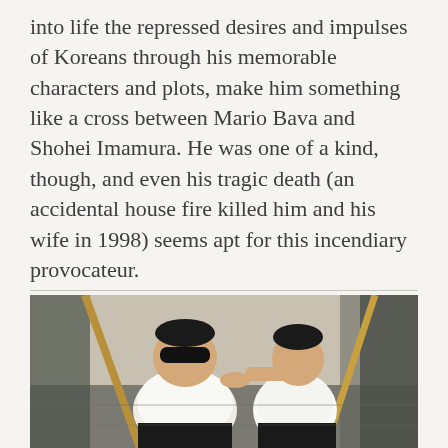into life the repressed desires and impulses of Koreans through his memorable characters and plots, make him something like a cross between Mario Bava and Shohei Imamura. He was one of a kind, though, and even his tragic death (an accidental house fire killed him and his wife in 1998) seems apt for this incendiary provocateur.

Available to watch in HD w/ English subtitles:
https://www.youtube.com/watch?v=qcV5-YDmxJ0
[Figure (photo): Two men dressed in white shirts and black bow ties sitting on the ground, one heavyset wearing dark sunglasses, the other leaning against a wall with his hand raised toward the first man. Mops/brooms visible on either side.]